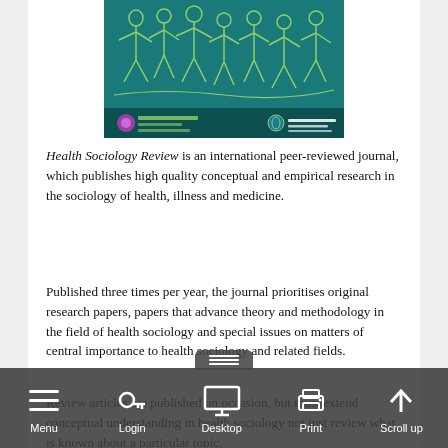[Figure (other): Cover image of Health Sociology Review journal — teal/dark teal background with outline illustrations of people in various poses; logos for Australian Sociology Association and Taylor & Francis at the bottom.]
Health Sociology Review is an international peer-reviewed journal, which publishes high quality conceptual and empirical research in the sociology of health, illness and medicine.
Published three times per year, the journal prioritises original research papers, papers that advance theory and methodology in the field of health sociology and special issues on matters of central importance to health sociology and related fields.
Review articles are published on occasion, but must extend conceptual understanding in health sociology not just review what is known about a particular topic.